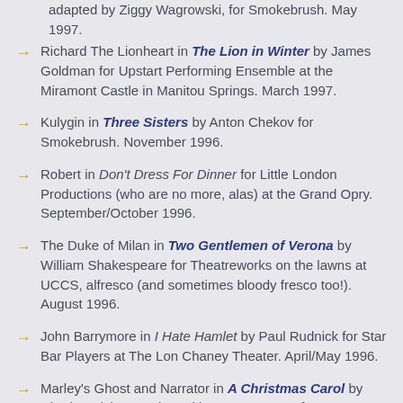adapted by Ziggy Wagrowski, for Smokebrush. May 1997.
Richard The Lionheart in The Lion in Winter by James Goldman for Upstart Performing Ensemble at the Miramont Castle in Manitou Springs. March 1997.
Kulygin in Three Sisters by Anton Chekov for Smokebrush. November 1996.
Robert in Don't Dress For Dinner for Little London Productions (who are no more, alas) at the Grand Opry. September/October 1996.
The Duke of Milan in Two Gentlemen of Verona by William Shakespeare for Theatreworks on the lawns at UCCS, alfresco (and sometimes bloody fresco too!). August 1996.
John Barrymore in I Hate Hamlet by Paul Rudnick for Star Bar Players at The Lon Chaney Theater. April/May 1996.
Marley's Ghost and Narrator in A Christmas Carol by Charles Dickens, adapted by Murray Ross, for